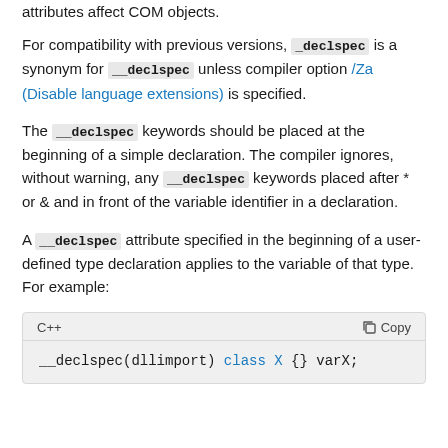attributes affect COM objects.
For compatibility with previous versions, _declspec is a synonym for __declspec unless compiler option /Za (Disable language extensions) is specified.
The __declspec keywords should be placed at the beginning of a simple declaration. The compiler ignores, without warning, any __declspec keywords placed after * or & and in front of the variable identifier in a declaration.
A __declspec attribute specified in the beginning of a user-defined type declaration applies to the variable of that type. For example:
[Figure (screenshot): C++ code block with header showing 'C++' and 'Copy', containing: __declspec(dllimport) class X {} varX;]